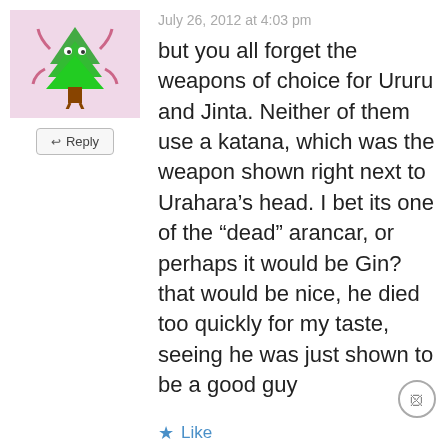July 26, 2012 at 4:03 pm
but you all forget the weapons of choice for Ururu and Jinta. Neither of them use a katana, which was the weapon shown right next to Urahara's head. I bet its one of the “dead” arancar, or perhaps it would be Gin? that would be nice, he died too quickly for my taste, seeing he was just shown to be a good guy
Like
Sunite
July 26, 2012 at 5:36 pm
Advertisements
[Figure (screenshot): Day One journaling app advertisement banner with light blue background, icons, and text 'The only journaling app you'll ever need.']